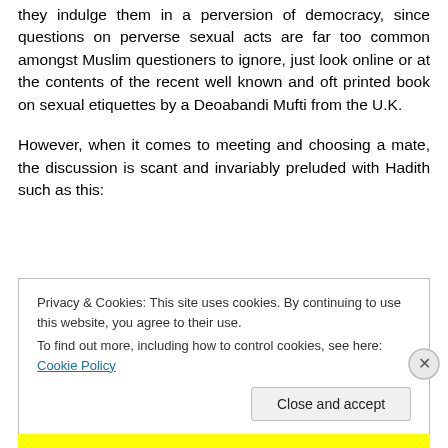they indulge them in a perversion of democracy, since questions on perverse sexual acts are far too common amongst Muslim questioners to ignore, just look online or at the contents of the recent well known and oft printed book on sexual etiquettes by a Deoabandi Mufti from the U.K.
However, when it comes to meeting and choosing a mate, the discussion is scant and invariably preluded with Hadith such as this:
Privacy & Cookies: This site uses cookies. By continuing to use this website, you agree to their use. To find out more, including how to control cookies, see here: Cookie Policy